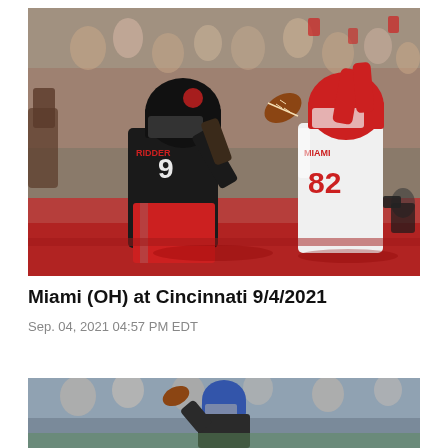[Figure (photo): Football game action photo: Cincinnati Bearcats player #9 (Ridder) in black uniform attempting to throw while Miami (OH) player #82 in white/red uniform reaches up to block, with crowd in background]
Miami (OH) at Cincinnati 9/4/2021
Sep. 04, 2021 04:57 PM EDT
[Figure (photo): Football game action photo showing a quarterback in blue helmet throwing a pass, with crowd in background]